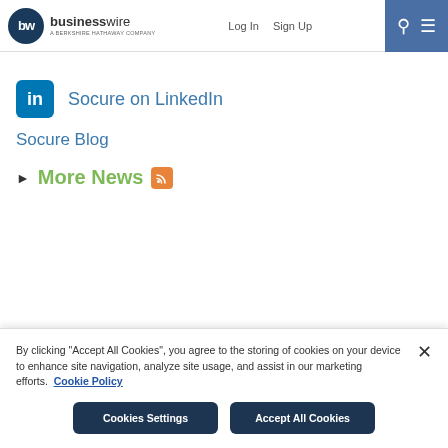businesswire — A Berkshire Hathaway Company | Log In | Sign Up
Socure on LinkedIn
Socure Blog
‣ More News
Twitter and LinkedIn social icons in footer bar
By clicking "Accept All Cookies", you agree to the storing of cookies on your device to enhance site navigation, analyze site usage, and assist in our marketing efforts. Cookie Policy
Cookies Settings | Accept All Cookies